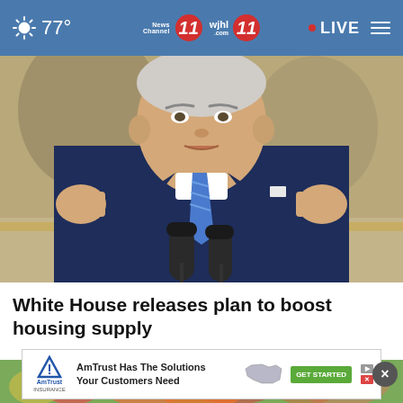77° News Channel 11 wjhl.com 11 • LIVE
[Figure (photo): A man in a dark blue suit and blue striped tie speaking at a podium with two microphones, gesturing with both hands raised]
White House releases plan to boost housing supply
[Figure (photo): Colorful floral and decorative scene, appears to be flowers and decorated items outdoors]
[Figure (screenshot): AmTrust advertisement banner: AmTrust Has The Solutions Your Customers Need with GET STARTED button]